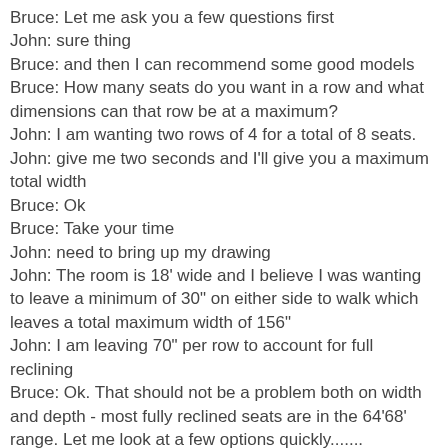Bruce: Let me ask you a few questions first
John: sure thing
Bruce: and then I can recommend some good models
Bruce: How many seats do you want in a row and what dimensions can that row be at a maximum?
John: I am wanting two rows of 4 for a total of 8 seats.
John: give me two seconds and I'll give you a maximum total width
Bruce: Ok
Bruce: Take your time
John: need to bring up my drawing
John: The room is 18' wide and I believe I was wanting to leave a minimum of 30" on either side to walk which leaves a total maximum width of 156"
John: I am leaving 70" per row to account for full reclining
Bruce: Ok. That should not be a problem both on width and depth - most fully reclined seats are in the 64'68' range. Let me look at a few options quickly.......
John: ok...
Bruce: Last 2 questions.....
John: ok
Bruce: What matorial color is your proference and do you